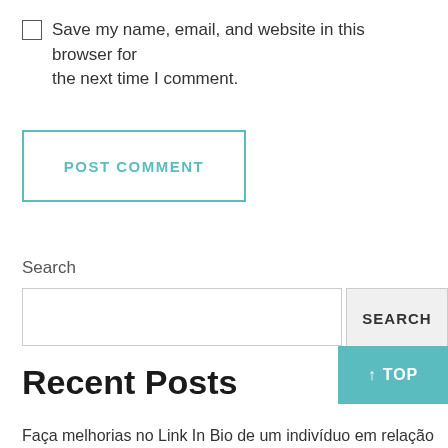Save my name, email, and website in this browser for the next time I comment.
POST COMMENT
Search
SEARCH
↑ TOP
Recent Posts
Faça melhorias no Link In Bio de um indivíduo em relação